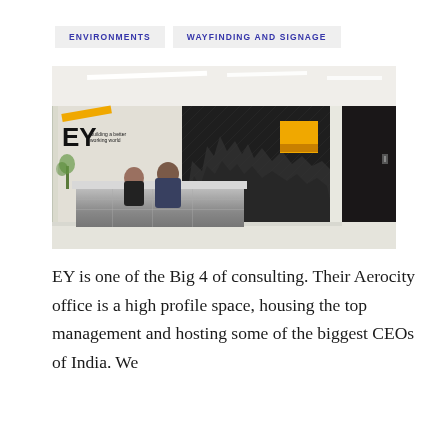ENVIRONMENTS    WAYFINDING AND SIGNAGE
[Figure (photo): EY office reception area showing the EY logo with tagline 'Building a better working world', a sleek reception desk with staff, and a large photographic mural on the wall in dark tones with a yellow accent panel. Modern white ceiling with recessed lighting strips.]
EY is one of the Big 4 of consulting. Their Aerocity office is a high profile space, housing the top management and hosting some of the biggest CEOs of India. We